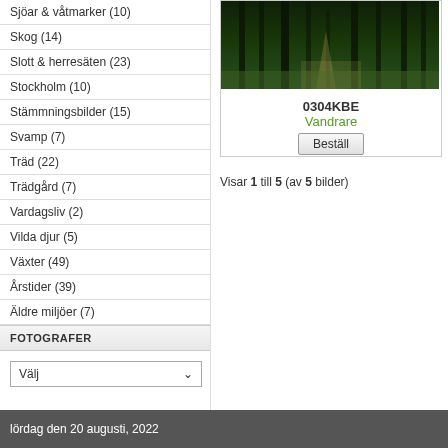Sjöar & våtmarker (10)
Skog (14)
Slott & herresäten (23)
Stockholm (10)
Stämmningsbilder (15)
Svamp (7)
Träd (22)
Trädgård (7)
Vardagsliv (2)
Vilda djur (5)
Växter (49)
Årstider (39)
Äldre miljöer (7)
FOTOGRAFER
Välj
[Figure (photo): Forest path photo with dark trees]
0304KBE
Vandrare
Beställ
Visar 1 till 5 (av 5 bilder)
lördag den 20 augusti, 2022